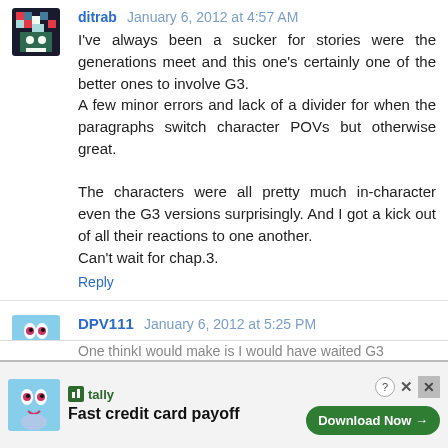ditrab January 6, 2012 at 4:57 AM
I've always been a sucker for stories were the generations meet and this one's certainly one of the better ones to involve G3.
A few minor errors and lack of a divider for when the paragraphs switch character POVs but otherwise great.

The characters were all pretty much in-character even the G3 versions surprisingly. And I got a kick out of all their reactions to one another.
Can't wait for chap.3.
Reply
DPV111 January 6, 2012 at 5:25 PM
@artsyfartsy1998

All the mane 6 are based on G1 ponies, not G3 ponies.
Reply
[Figure (other): Advertisement banner: tally - Fast credit card payoff - Download Now button]
One thinkI would make is I would have waited G3